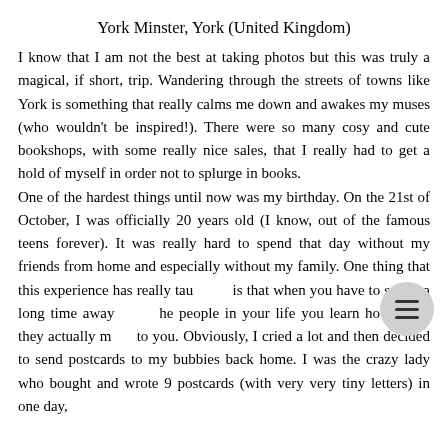York Minster, York (United Kingdom)
I know that I am not the best at taking photos but this was truly a magical, if short, trip. Wandering through the streets of towns like York is something that really calms me down and awakes my muses (who wouldn't be inspired!). There were so many cosy and cute bookshops, with some really nice sales, that I really had to get a hold of myself in order not to splurge in books.
One of the hardest things until now was my birthday. On the 21st of October, I was officially 20 years old (I know, out of the famous teens forever). It was really hard to spend that day without my friends from home and especially without my family. One thing that this experience has really taught is that when you have to spend a long time away from the people in your life you learn how much they actually mean to you. Obviously, I cried a lot and then decided to send postcards to my bubbies back home. I was the crazy lady who bought and wrote 9 postcards (with very very tiny letters) in one day,